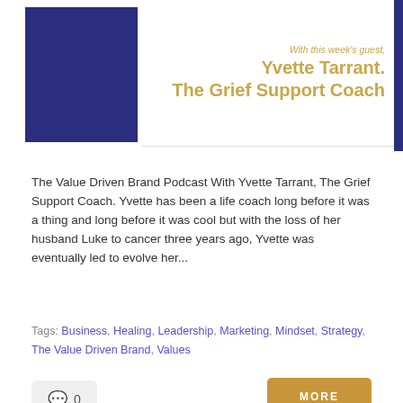[Figure (illustration): Podcast episode card with dark navy/purple square placeholder image on left and golden text on right reading 'With this week's guest, Yvette Tarrant. The Grief Support Coach']
The Value Driven Brand Podcast With Yvette Tarrant, The Grief Support Coach. Yvette has been a life coach long before it was a thing and long before it was cool but with the loss of her husband Luke to cancer three years ago, Yvette was eventually led to evolve her...
Tags: Business, Healing, Leadership, Marketing, Mindset, Strategy, The Value Driven Brand, Values
0
MORE
Episode #1 The Value Driven Brand Podcast...